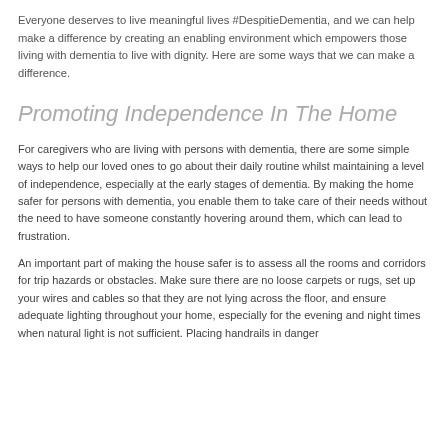Everyone deserves to live meaningful lives #DespitieDementia, and we can help make a difference by creating an enabling environment which empowers those living with dementia to live with dignity. Here are some ways that we can make a difference.
Promoting Independence In The Home
For caregivers who are living with persons with dementia, there are some simple ways to help our loved ones to go about their daily routine whilst maintaining a level of independence, especially at the early stages of dementia. By making the home safer for persons with dementia, you enable them to take care of their needs without the need to have someone constantly hovering around them, which can lead to frustration.
An important part of making the house safer is to assess all the rooms and corridors for trip hazards or obstacles. Make sure there are no loose carpets or rugs, set up your wires and cables so that they are not lying across the floor, and ensure adequate lighting throughout your home, especially for the evening and night times when natural light is not sufficient. Placing handrails in danger